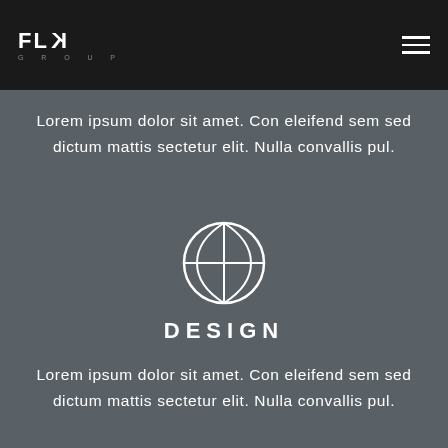FLK GROUP
Lorem ipsum dolor sit amet. Con eleifend sem sed dictum mattis sectetur elit. Nulla convallis pul.
[Figure (illustration): White outline basketball icon on gray background]
DESIGN
Lorem ipsum dolor sit amet. Con eleifend sem sed dictum mattis sectetur elit. Nulla convallis pul.